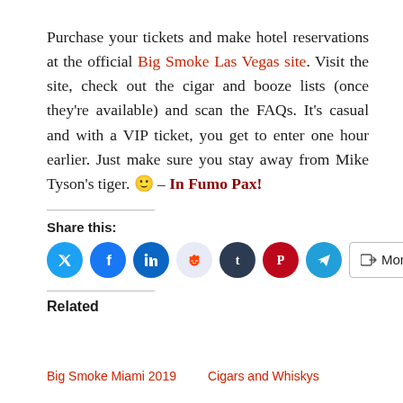Purchase your tickets and make hotel reservations at the official Big Smoke Las Vegas site. Visit the site, check out the cigar and booze lists (once they're available) and scan the FAQs. It's casual and with a VIP ticket, you get to enter one hour earlier. Just make sure you stay away from Mike Tyson's tiger. 🙂 – In Fumo Pax!
Share this:
[Figure (infographic): Social share icons: Twitter, Facebook, LinkedIn, Reddit, Tumblr, Pinterest, Telegram, and a More button]
Related
Big Smoke Miami 2019
Cigars and Whiskys